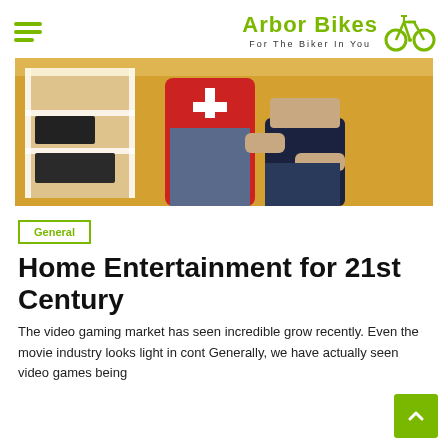Arbor Bikes — For The Biker In You
[Figure (photo): Two people sitting together in front of a yellow shelving unit, one wearing a red jersey and jeans, the other in dark clothing; indoor home setting.]
General
Home Entertainment for 21st Century
The video gaming market has seen incredible grow recently. Even the movie industry looks light in cont Generally, we have actually seen video games being